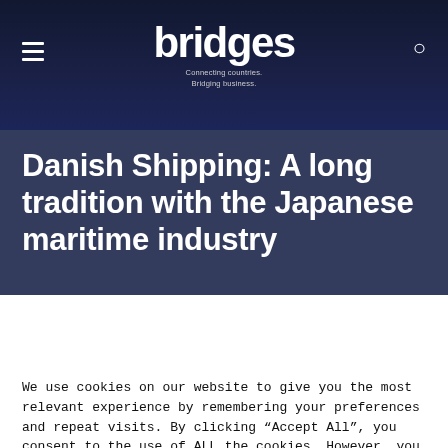bridges — Connecting countries. Bridging business.
Danish Shipping: A long tradition with the Japanese maritime industry
We use cookies on our website to give you the most relevant experience by remembering your preferences and repeat visits. By clicking “Accept All”, you consent to the use of ALL the cookies. However, you may visit "Cookie Settings" to provide a controlled consent.